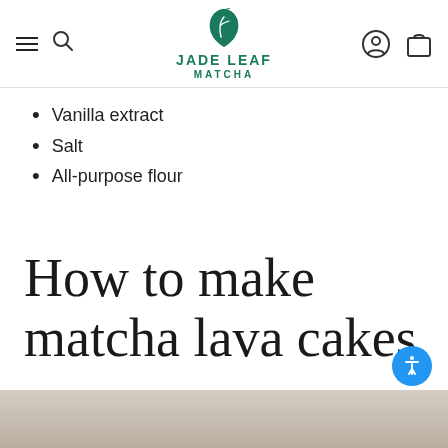JADE LEAF MATCHA
Vanilla extract
Salt
All-purpose flour
How to make matcha lava cakes
[Figure (photo): Bottom strip showing a food/baking photograph on a wooden surface]